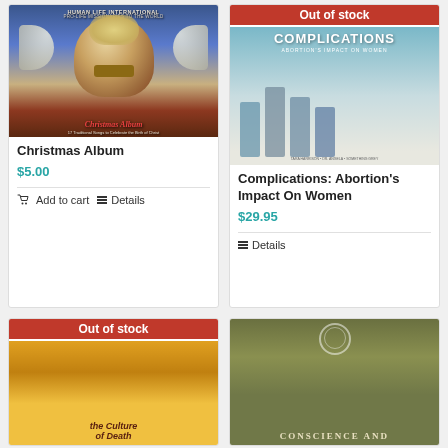[Figure (photo): Christmas Album product card with angel playing violin image]
Christmas Album
$5.00
Add to cart
Details
[Figure (photo): Complications: Abortion's Impact On Women book cover with Out of stock banner]
Complications: Abortion's Impact On Women
$29.95
Details
[Figure (photo): Bottom left product card with Out of stock banner, partial book cover visible with 'the Culture of Death']
[Figure (photo): Bottom right product card, partial book cover with 'CONSCIENCE AND']